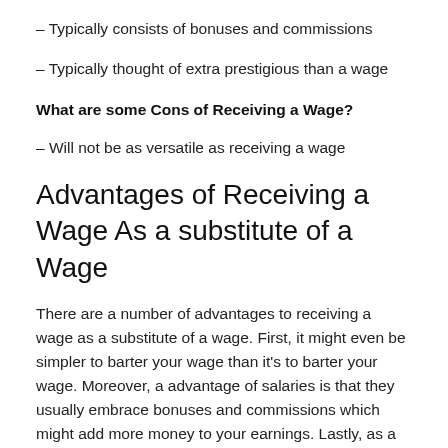– Typically consists of bonuses and commissions
– Typically thought of extra prestigious than a wage
What are some Cons of Receiving a Wage?
– Will not be as versatile as receiving a wage
Advantages of Receiving a Wage As a substitute of a Wage
There are a number of advantages to receiving a wage as a substitute of a wage. First, it might even be simpler to barter your wage than it's to barter your wage. Moreover, a advantage of salaries is that they usually embrace bonuses and commissions which might add more money to your earnings. Lastly, as a result of salaries are paid regularly, it